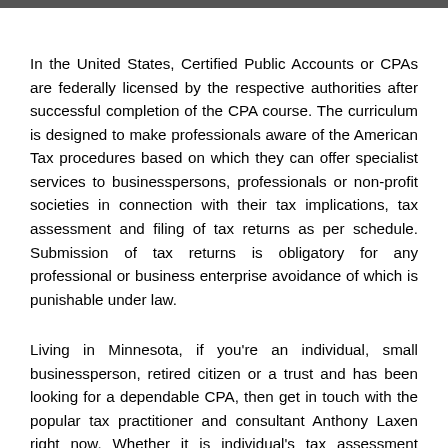[Figure (other): Dark gray horizontal bar at the top of the page]
In the United States, Certified Public Accounts or CPAs are federally licensed by the respective authorities after successful completion of the CPA course. The curriculum is designed to make professionals aware of the American Tax procedures based on which they can offer specialist services to businesspersons, professionals or non-profit societies in connection with their tax implications, tax assessment and filing of tax returns as per schedule. Submission of tax returns is obligatory for any professional or business enterprise avoidance of which is punishable under law.
Living in Minnesota, if you're an individual, small businessperson, retired citizen or a trust and has been looking for a dependable CPA, then get in touch with the popular tax practitioner and consultant Anthony Laxen right now. Whether it is individual's tax assessment matter